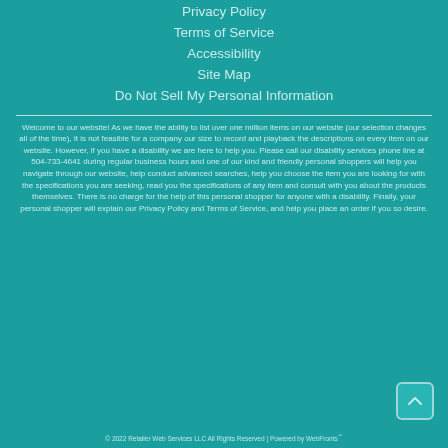Privacy Policy
Terms of Service
Accessibility
Site Map
Do Not Sell My Personal Information
Welcome to our website! As we have the ability to list over one million items on our website (our selection changes all of the time), it is not feasible for a company our size to record and playback the descriptions on every item on our website. However, if you have a disability we are here to help you. Please call our disability services phone line at 504-733-4641 during regular business hours and one of our kind and friendly personal shoppers will help you navigate through our website, help conduct advanced searches, help you choose the item you are looking for with the specifications you are seeking, read you the specifications of any item and consult with you about the products themselves. There is no charge for the help of this personal shopper for anyone with a disability. Finally, your personal shopper will explain our Privacy Policy and Terms of Service, and help you place an order if you so desire.
© 2022 Retailer Web Services LLC All Rights Reserved | Powered by WebFronts℠